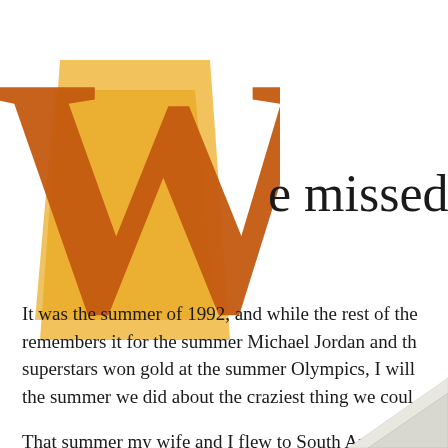[Figure (illustration): Decorative drop cap letter W in orange/dark orange color with a golden/amber crown or trapezoid shape behind it, forming a large decorative initial capital letter]
e missed the Dream Tea
It was the summer of 1992, and while the rest of the remembers it for the summer Michael Jordan and th superstars won gold at the summer Olympics, I will the summer we did about the craziest thing we coul
That summer my wife and I flew to South America